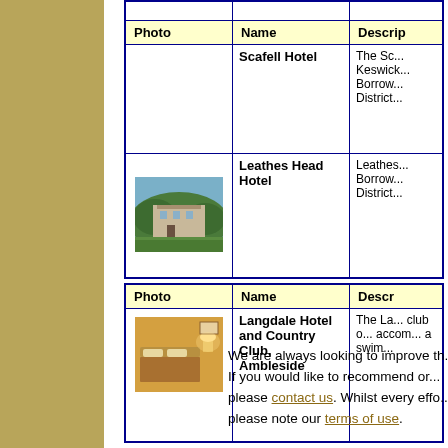| Photo | Name | Descri... |
| --- | --- | --- |
|  | Scafell Hotel | The Sc... Keswick... Borrows... District... |
| [photo] | Leathes Head Hotel | Leathes... Borrows... District... |
| Photo | Name | Descr... |
| --- | --- | --- |
| [photo] | Langdale Hotel and Country Club, Ambleside | The La... club o... accom... a swim... |
We are always looking to improve th... If you would like to recommend or... please contact us. Whilst every effo... please note our terms of use.